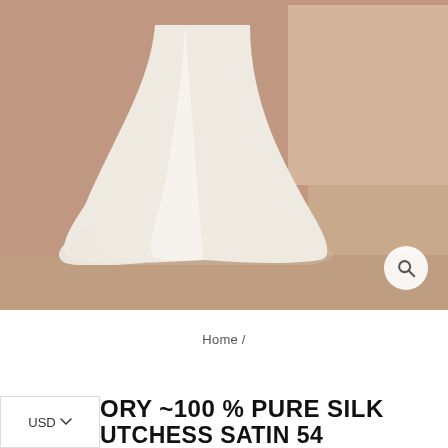[Figure (photo): A bridal model wearing a white/ivory pure silk satin wedding dress with a flowing train, standing near stairs with a tan/brown background. The dress has a fitted silhouette with a mermaid-style train pooling on the floor. The upper portion shows lace detailing on the bodice. A search/zoom icon is visible in the bottom right of the photo area.]
Home /
ORY ~100 % PURE SILK UTCHESS SATIN 54